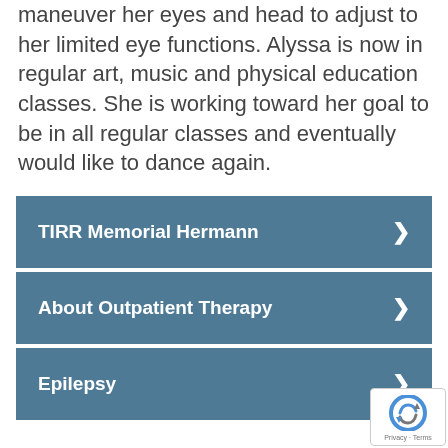maneuver her eyes and head to adjust to her limited eye functions. Alyssa is now in regular art, music and physical education classes. She is working toward her goal to be in all regular classes and eventually would like to dance again.
TIRR Memorial Hermann
About Outpatient Therapy
Epilepsy